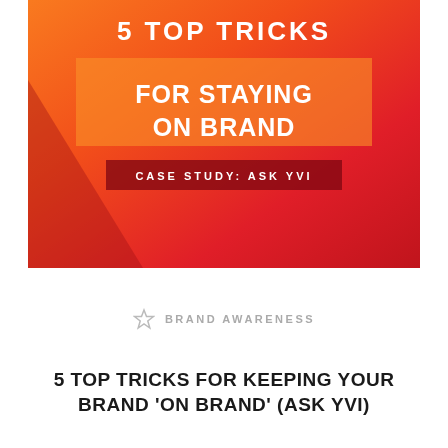[Figure (illustration): Promotional cover image with orange-to-red gradient background, decorative triangle on left, text reading '5 TOP TRICKS', 'FOR STAYING ON BRAND' on orange banner, and 'CASE STUDY: ASK YVI' on dark red banner.]
BRAND AWARENESS
5 TOP TRICKS FOR KEEPING YOUR BRAND 'ON BRAND' (ASK YVI)